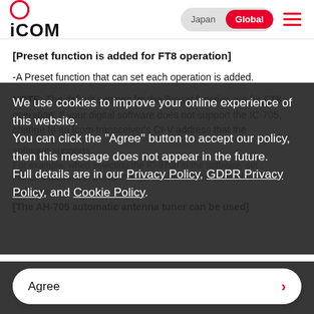ICOM — Japan / Global toggle, hamburger menu
[Preset function is added for FT8 operation]
-A Preset function that can set each operation is added.
NOTE: The default settings for the Preset function are for FT8 operation. If your digital software does not support the IC-705, change to an Icom transceiver's CI-V address that the software supports.
For example, when selecting the IC-9700 in the software, set the CI-V address in the IC-705 to A2, which is the IC-9700's CI-V address.
We use cookies to improve your online experience of this website. You can click the "Agree" button to accept our policy, then this message does not appear in the future. Full details are in our Privacy Policy, GDPR Privacy Policy, and Cookie Policy.
[The AH-705 automatic antenna tuner can be used]
Agree